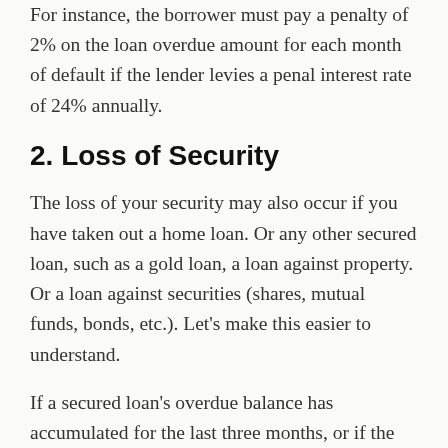For instance, the borrower must pay a penalty of 2% on the loan overdue amount for each month of default if the lender levies a penal interest rate of 24% annually.
2. Loss of Security
The loss of your security may also occur if you have taken out a home loan. Or any other secured loan, such as a gold loan, a loan against property. Or a loan against securities (shares, mutual funds, bonds, etc.). Let's make this easier to understand.
If a secured loan's overdue balance has accumulated for the last three months, or if the borrower has missed 90 days' worth of EMI payments, we might classify the loan as a non-